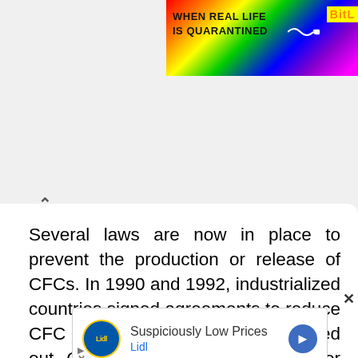[Figure (screenshot): Colorful rainbow-style banner advertisement with text 'WHEN REAL LIFE IS QUARANTINED' and 'BitL' logo on right side]
Several laws are now in place to prevent the production or release of CFCs. In 1990 and 1992, industrialized countries signed agreements to reduce CFC production and have now phased out CFC production. Substitutes for CFCs have been found for aerosol cans, refrigerators, and air conditioners. There is evidence that the reduction in CFC production is paving off.
[Figure (screenshot): Advertisement for Lidl: 'Suspiciously Low Prices' with Lidl logo and navigation arrow icon]